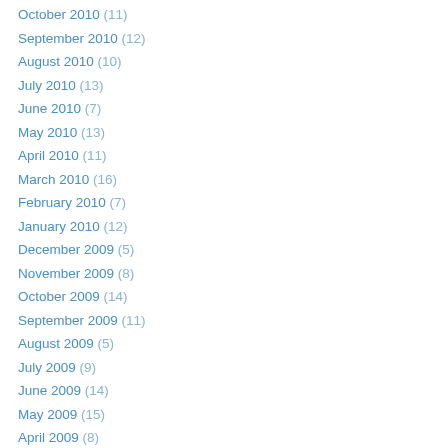October 2010 (11)
September 2010 (12)
August 2010 (10)
July 2010 (13)
June 2010 (7)
May 2010 (13)
April 2010 (11)
March 2010 (16)
February 2010 (7)
January 2010 (12)
December 2009 (5)
November 2009 (8)
October 2009 (14)
September 2009 (11)
August 2009 (5)
July 2009 (9)
June 2009 (14)
May 2009 (15)
April 2009 (8)
March 2009 (9)